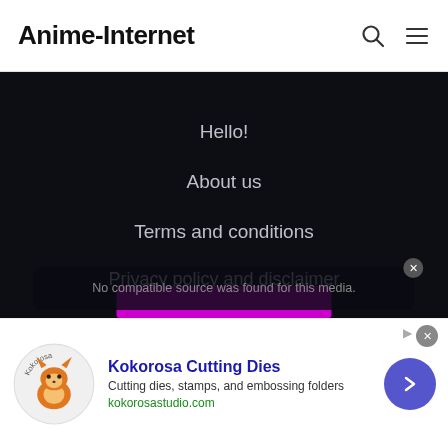Anime-Internet
Hello!
About us
Terms and conditions
Privacy policy and disclaimer
Weird Cats
Write With Us
No compatible source was found for this media.
[Figure (screenshot): Advertisement banner: Kokorosa Cutting Dies — Cutting dies, stamps, and embossing folders — kokorosastudio.com, with fox logo and navigation arrow button]